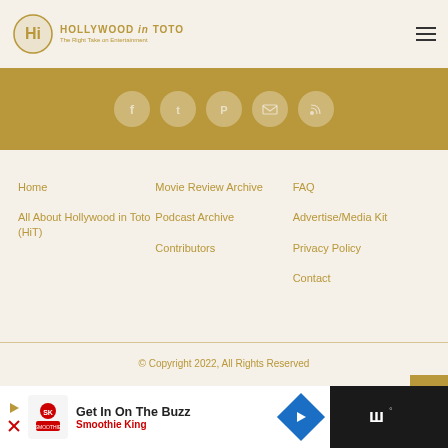Hollywood in Toto – The Right Take on Entertainment
[Figure (other): Gold social media banner with circular icons for Facebook, Twitter, Pinterest, Email, and RSS]
Home
All About Hollywood in Toto (HiT)
Movie Review Archive
Podcast Archive
Contributors
FAQ
Advertise/Media Kit
Privacy Policy
Contact
© Copyright 2022, All Rights Reserved
[Figure (screenshot): Advertisement bar: Get In On The Buzz – Smoothie King]